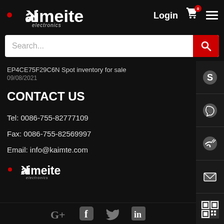[Figure (logo): Kaimeite electronics logo - white text with red dot, reversed K arrow]
Login
EP4CE75F29C6N Spot inventory for sale
09/08/2021
CONTACT US
Tel: 0086-755-82777109
Fax: 0086-755-82569997
Email: info@kaimte.com
[Figure (logo): Kaimeite electronics small footer logo]
[Figure (other): Right sidebar with Skype, WhatsApp, phone, email, and QR code contact icons]
[Figure (other): Social media icons: Google+, Facebook, Twitter, LinkedIn at bottom]